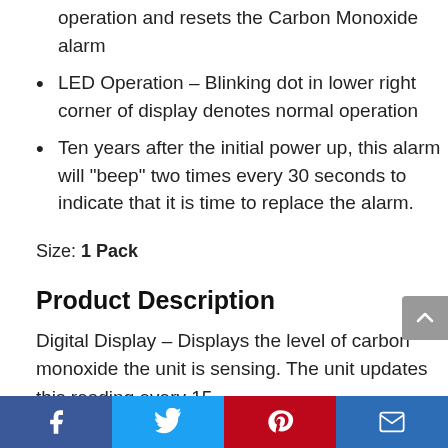operation and resets the Carbon Monoxide alarm
LED Operation – Blinking dot in lower right corner of display denotes normal operation
Ten years after the initial power up, this alarm will "beep" two times every 30 seconds to indicate that it is time to replace the alarm.
Size: 1 Pack
Product Description
Digital Display – Displays the level of carbon monoxide the unit is sensing. The unit updates this reading every 15